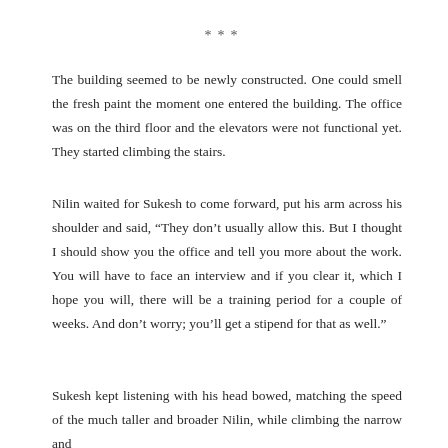***
The building seemed to be newly constructed. One could smell the fresh paint the moment one entered the building. The office was on the third floor and the elevators were not functional yet. They started climbing the stairs.
Nilin waited for Sukesh to come forward, put his arm across his shoulder and said, “They don’t usually allow this. But I thought I should show you the office and tell you more about the work. You will have to face an interview and if you clear it, which I hope you will, there will be a training period for a couple of weeks. And don’t worry; you’ll get a stipend for that as well.”
Sukesh kept listening with his head bowed, matching the speed of the much taller and broader Nilin, while climbing the narrow and